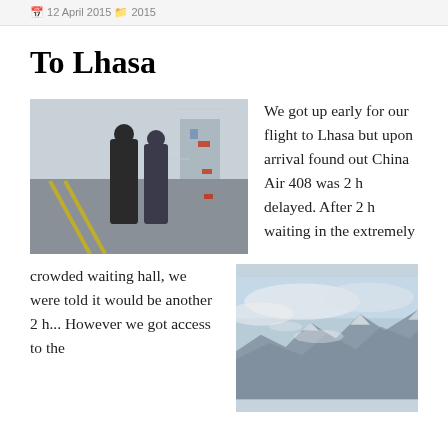12 April 2015   2015
To Lhasa
[Figure (photo): Two people standing at an airport or outdoor area, rotated sideways. Gray sky and urban infrastructure in the background.]
We got up early for our flight to Lhasa but upon arrival found out China Air 408 was 2 h delayed. After 2 h waiting in the extremely
crowded waiting hall, we were told it would be another 2 h... However we got access to the
[Figure (photo): Aerial view of mountainous terrain with clouds and snow-capped peaks, likely the Himalayas or Tibetan plateau seen from an airplane.]